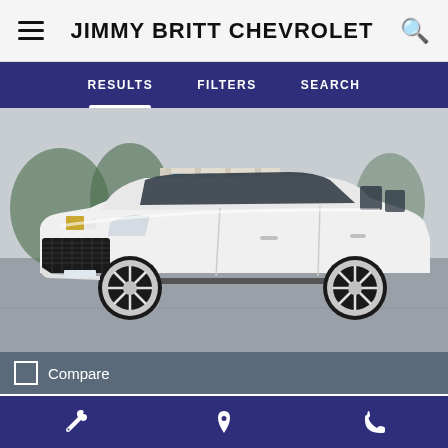JIMMY BRITT CHEVROLET
RESULTS   FILTERS   SEARCH
[Figure (photo): White Cadillac Escalade SUV parked in a lot, front three-quarter view, showing chrome grille, large chrome wheels, and running boards. Background shows trees and a building.]
Compare
Ext: Crystal White Tricoat
Int: Jet Black
Wrench icon | Location pin icon | Phone icon